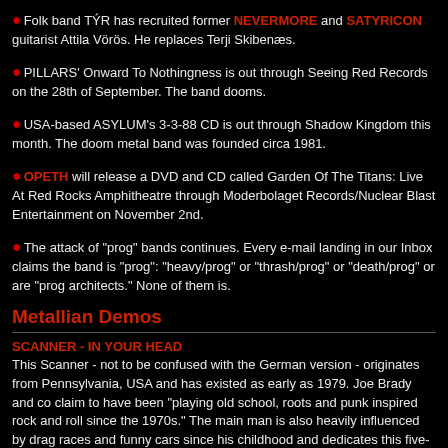Folk band TÝR has recruited former NEVERMORE and SATYRICON guitarist Attila Vörös. He replaces Terji Skibenæs.
PILLARS' Onward To Nothingness is out through Seeing Red Records on the 28th of September. The band dooms.
USA-based ASYLUM's 3-3-88 CD is out through Shadow Kingdom this month. The doom metal band was founded circa 1981.
OPETH will release a DVD and CD called Garden Of The Titans: Live At Red Rocks Amphitheatre through Moderbolaget Records/Nuclear Blast Entertainment on November 2nd.
The attack of "prog" bands continues. Every e-mail landing in our Inbox claims the band is "prog": "heavy/prog" or "thrash/prog" or "death/prog" or are "prog architects." None of them is.
Metallian Demos
SCANNER - IN YOUR HEAD
This Scanner - not to be confused with the German version - originates from Pennsylvania, USA and has existed as early as 1979. Joe Brady and co claim to have been "playing old school, roots and punk inspired rock and roll since the 1970s." The main man is also heavily influenced by drag races and funny cars since his childhood and dedicates this five-song EP to two Pennsylvania based pioneers of racing, Bob and Mike Metzger. Frankenstein's Flivver opens the EP with some simple bluesy rock. Never